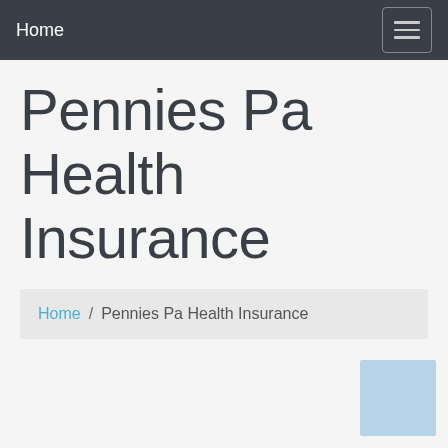Home
Pennies Pa Health Insurance
Home / Pennies Pa Health Insurance